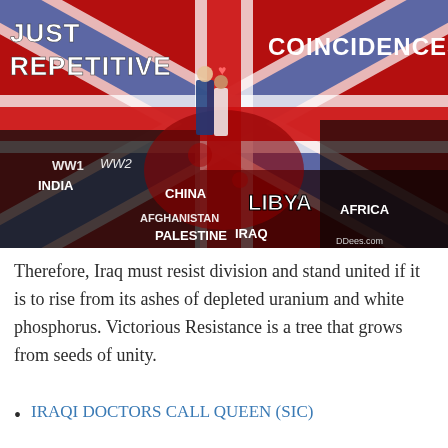[Figure (illustration): Composite propaganda image featuring a Union Jack flag background with the text 'JUST REPETITIVE' on the left and 'COINCIDENCES' on the right, overlaid with images of war victims and geographic labels: WW1, WW2, INDIA, CHINA, AFGHANISTAN, PALESTINE, IRAQ, LIBYA, AFRICA. A couple in wedding attire stands at center top. Watermark: DDees.com]
Therefore, Iraq must resist division and stand united if it is to rise from its ashes of depleted uranium and white phosphorus. Victorious Resistance is a tree that grows from seeds of unity.
IRAQI DOCTORS CALL QUEEN (SIC)